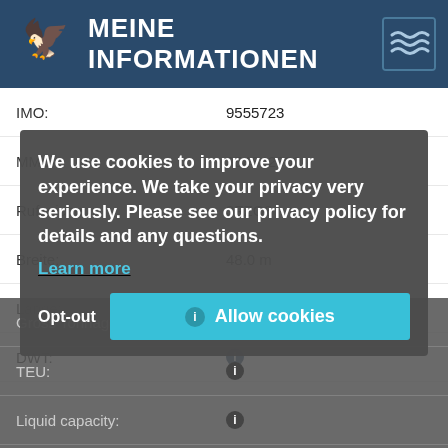MEINE INFORMATIONEN
| Field | Value |
| --- | --- |
| IMO: | 9555723 |
| MMSI: | 354842000 |
| Rufzeichen: | 3FZO8 |
| Breite: | 48.0 m |
| Länge: | 305.0 m |
| DWT: | ⓘ |
| Gross Tonnage: | ⓘ |
| TEU: | ⓘ |
| Liquid capacity: | ⓘ |
| Ballast capacity: | ⓘ |
| Klasse: | ⓘ |
| AIS-Type: | Passenger ship |
| Ship type: | ⓘ |
| Flagge: | Panama |
| Hersteller: | ⓘ |
| Eigner: | ⓘ |
| Operator: | ⓘ |
| Versicherer: |  |
We use cookies to improve your experience. We take your privacy very seriously. Please see our privacy policy for details and any questions.
Learn more
Opt-out
Allow cookies